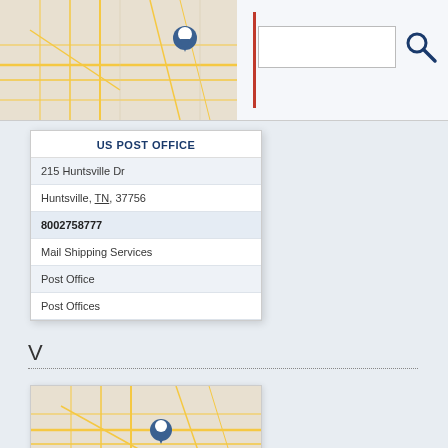[Figure (screenshot): Map thumbnail showing street map with location pin]
[Figure (screenshot): Search box with magnifying glass icon]
US POST OFFICE
215 Huntsville Dr
Huntsville, TN, 37756
8002758777
Mail Shipping Services
Post Office
Post Offices
V
[Figure (screenshot): Map thumbnail showing street map with location pin for Valley Services Inc]
VALLEY SERVICES INC
575 Scott High Dr
Huntsville, TN, 37756
4236639455
Meals On Wheels